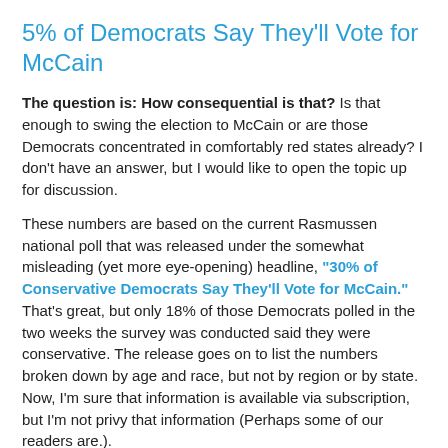5% of Democrats Say They'll Vote for McCain
The question is: How consequential is that? Is that enough to swing the election to McCain or are those Democrats concentrated in comfortably red states already? I don't have an answer, but I would like to open the topic up for discussion.
These numbers are based on the current Rasmussen national poll that was released under the somewhat misleading (yet more eye-opening) headline, "30% of Conservative Democrats Say They'll Vote for McCain." That's great, but only 18% of those Democrats polled in the two weeks the survey was conducted said they were conservative. The release goes on to list the numbers broken down by age and race, but not by region or by state. Now, I'm sure that information is available via subscription, but I'm not privy that information (Perhaps some of our readers are.).